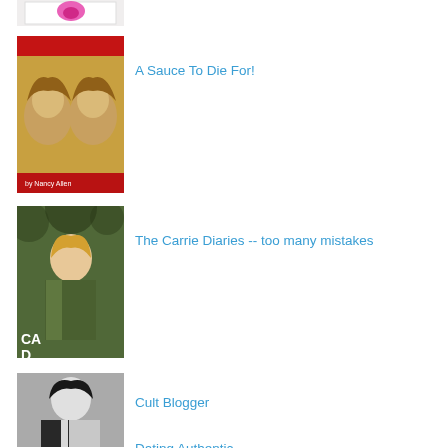[Figure (photo): Partial top image, pink/magenta colored book or product cover]
[Figure (photo): Book cover for A Sauce To Die For - two illustrated female faces with red accents]
A Sauce To Die For!
[Figure (photo): Cover of The Carrie Diaries showing a young blonde woman in colorful outfit]
The Carrie Diaries -- too many mistakes
[Figure (photo): Black and white photo of a person for Cult Blogger post]
Cult Blogger
[Figure (photo): Black and white group photo for A Tribute to the Cowsills]
A Tribute to the Cowsills
Dating Authentic